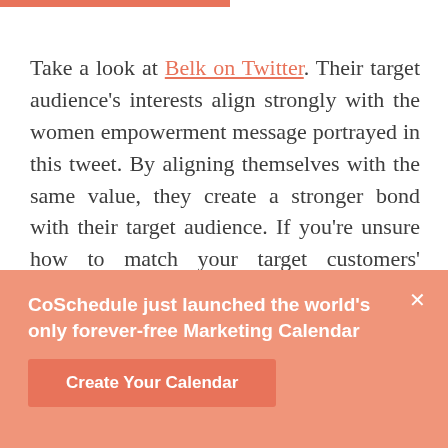Take a look at Belk on Twitter. Their target audience's interests align strongly with the women empowerment message portrayed in this tweet. By aligning themselves with the same value, they create a stronger bond with their target audience. If you're unsure how to match your target customers' interests, social listening can help.
CoSchedule just launched the world's only forever-free Marketing Calendar
Create Your Calendar